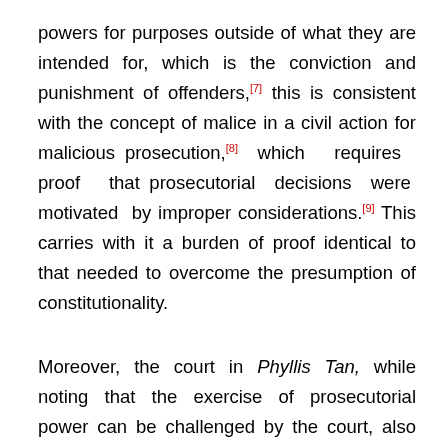powers for purposes outside of what they are intended for, which is the conviction and punishment of offenders,[7] this is consistent with the concept of malice in a civil action for malicious prosecution,[8] which requires proof that prosecutorial decisions were motivated by improper considerations.[9] This carries with it a burden of proof identical to that needed to overcome the presumption of constitutionality.
Moreover, the court in Phyllis Tan, while noting that the exercise of prosecutorial power can be challenged by the court, also stated that this